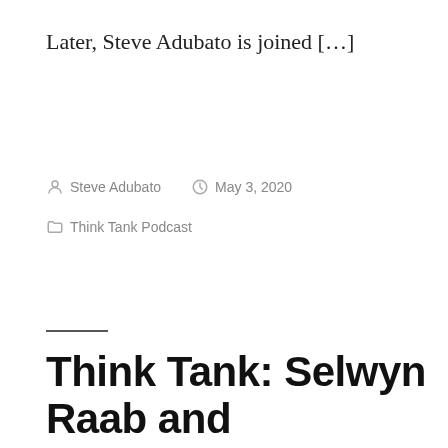Later, Steve Adubato is joined […]
By Steve Adubato   May 3, 2020   Think Tank Podcast
Think Tank: Selwyn Raab and Alejandro Roubian & Brett Saho